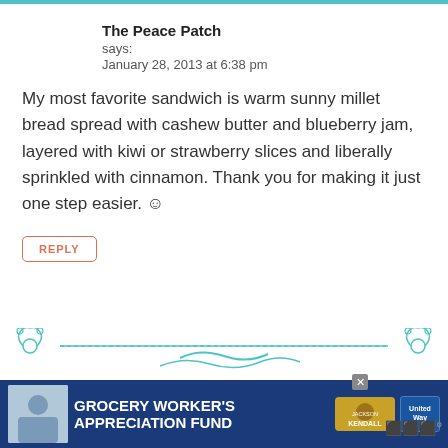The Peace Patch
says:
January 28, 2013 at 6:38 pm
My most favorite sandwich is warm sunny millet bread spread with cashew butter and blueberry jam, layered with kiwi or strawberry slices and liberally sprinkled with cinnamon. Thank you for making it just one step easier. ☺
REPLY
[Figure (illustration): Decorative teal/turquoise ornamental divider with scroll designs at each end and dashed lines]
[Figure (infographic): Advertisement banner: Grocery Worker's Appreciation Fund with Kendall Jackson and United Way logos, person photo on left]